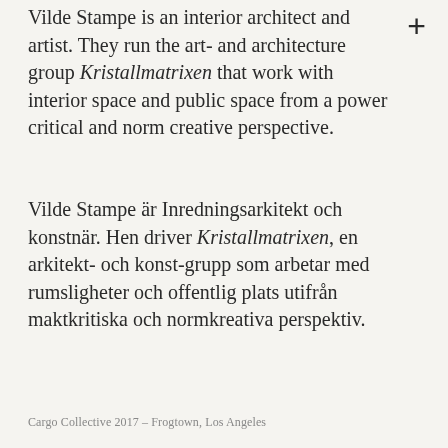Vilde Stampe is an interior architect and artist. They run the art- and architecture group Kristallmatrixen that work with interior space and public space from a power critical and norm creative perspective.
Vilde Stampe är Inredningsarkitekt och konstnär. Hen driver Kristallmatrixen, en arkitekt- och konst-grupp som arbetar med rumsligheter och offentlig plats utifrån maktkritiska och normkreativa perspektiv.
Cargo Collective 2017 – Frogtown, Los Angeles